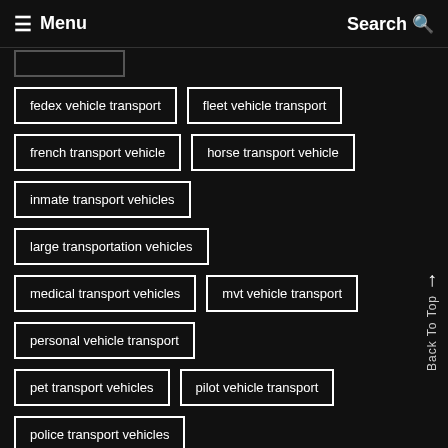≡ Menu   Search 🔍
fedex vehicle transport
fleet vehicle transport
french transport vehicle
horse transport vehicle
inmate transport vehicles
large transportation vehicles
medical transport vehicles
mvt vehicle transport
personal vehicle transport
pet transport vehicles
pilot vehicle transport
police transport vehicles
quote vehicle transport
rail transport vehicles